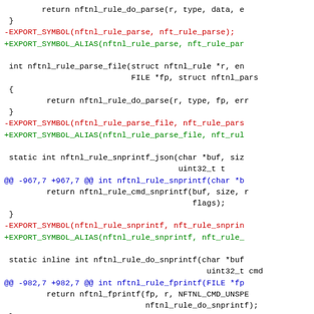Code diff showing nftnl_rule parse, parse_file, snprintf, and fprintf export symbol changes from EXPORT_SYMBOL to EXPORT_SYMBOL_ALIAS macros, with diff hunks at -967,7 +967,7 and -982,7 +982,7.